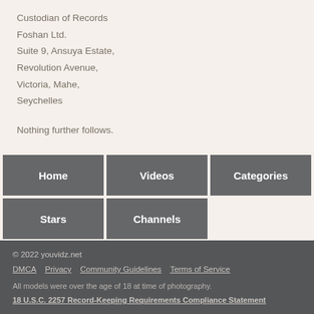Custodian of Records
Foshan Ltd.
Suite 9, Ansuya Estate,
Revolution Avenue,
Victoria, Mahe,
Seychelles
Nothing further follows.
| Home | Videos | Categories |
| --- | --- | --- |
| Stars | Channels |  |
© 2022 youvidz.net
DMCA  Privacy  Community Guidelines  Terms of Service
All models were over the age of 18 at time of photography.
18 U.S.C. 2257 Record-Keeping Requirements Compliance Statement